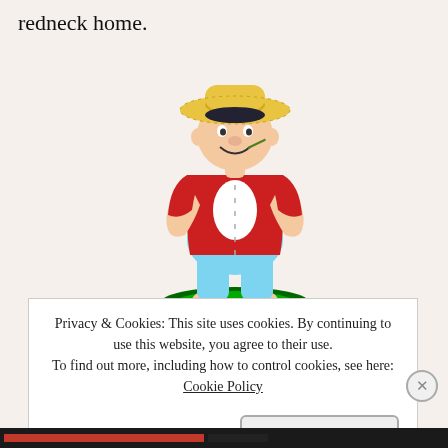redneck home.
[Figure (illustration): Cartoon illustration of a heavyset man wearing a straw hat, red open shirt, light blue pants that are falling down, and barefoot, standing on a green oval shadow. He has a blade of grass in his mouth and is smiling.]
Privacy & Cookies: This site uses cookies. By continuing to use this website, you agree to their use.
To find out more, including how to control cookies, see here: Cookie Policy
Close and accept